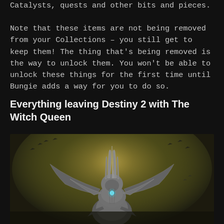Catalysts, quests and other bits and pieces.
Note that these items are not being removed from your Collections – you still get to keep them! The thing that's being removed is the way to unlock them. You won't be able to unlock these things for the first time until Bungie adds a way for you to do so.
Everything leaving Destiny 2 with The Witch Queen
[Figure (photo): Dark fantasy game artwork showing an imposing alien/insectoid queen figure in silver armor with large wing-like protrusions, a glowing blue gem in the chest, set against a yellowish atmospheric background with flying creatures in the distance.]